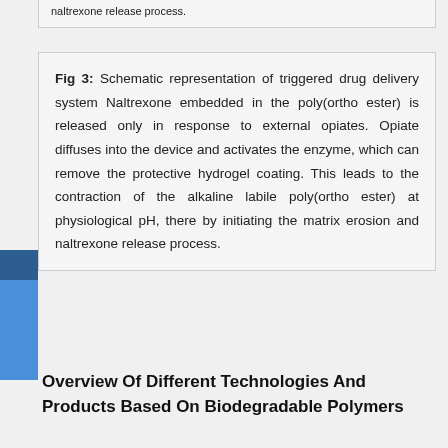naltrexone release process.
Fig 3: Schematic representation of triggered drug delivery system Naltrexone embedded in the poly(ortho ester) is released only in response to external opiates. Opiate diffuses into the device and activates the enzyme, which can remove the protective hydrogel coating. This leads to the contraction of the alkaline labile poly(ortho ester) at physiological pH, there by initiating the matrix erosion and naltrexone release process.
Overview Of Different Technologies And Products Based On Biodegradable Polymers